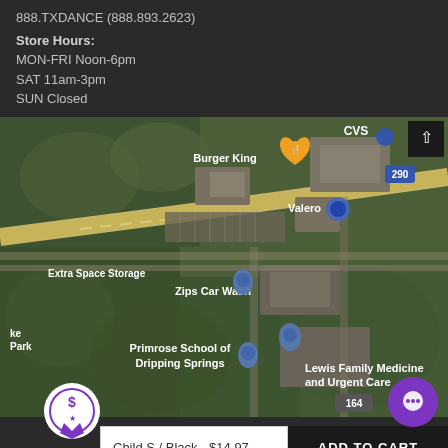888.TXDANCE (888.893.2623)
Store Hours:
MON-FRI Noon-6pm
SAT 11am-3pm
SUN Closed
[Figure (map): Aerial satellite map showing Burger King, CVS, Valero, Extra Space Storage, Zips Car Wash, Primrose School of Dripping Springs, Lewis Family Medicine and Urgent Care, along Sawyer Ranch Rd and highway 290, with route 164 marker]
Child S / Black - $14.97
ADD TO CART